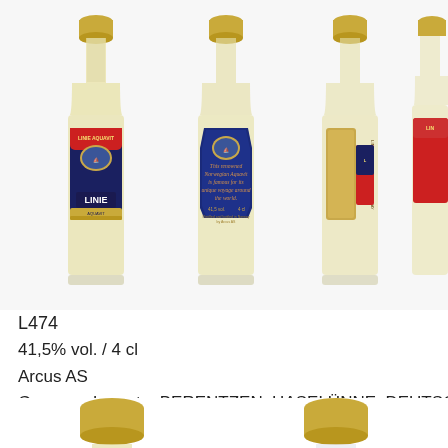[Figure (photo): Four miniature Linie Aquavit bottles shown from different angles: front label (red/blue Linie Aquavit), back label (blue with text about Norwegian Aquavit voyage), side label (gold text), and partial fourth bottle with red label. Bottles have gold caps.]
L474
41,5% vol. / 4 cl
Arcus AS
Germany Import – BERENTZEN, HASELÜNNE, DEUTSCH
[Figure (photo): Two partial miniature bottle tops visible at bottom of page, each showing gold screw caps.]